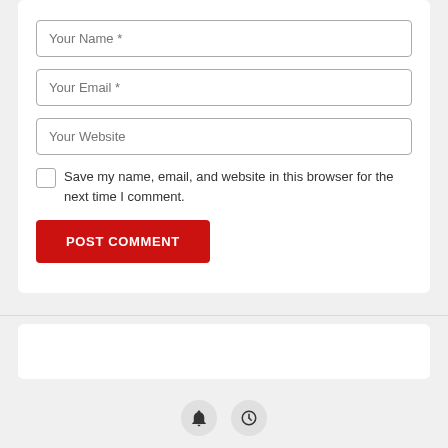[Figure (screenshot): Web comment form with input fields for Your Name, Your Email, Your Website, a checkbox for saving browser info, and a red POST COMMENT button]
Your Name *
Your Email *
Your Website
Save my name, email, and website in this browser for the next time I comment.
POST COMMENT
[Figure (screenshot): Two circular icon buttons at the bottom: a bell/notification icon and a clock/history icon]